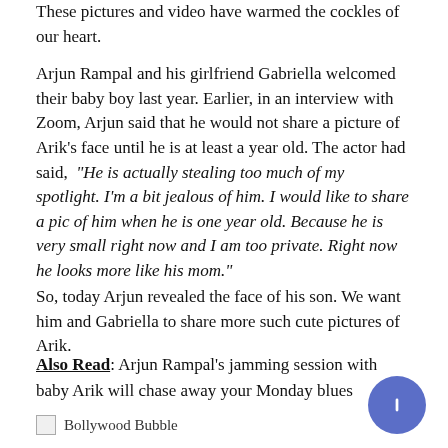These pictures and video have warmed the cockles of our heart.
Arjun Rampal and his girlfriend Gabriella welcomed their baby boy last year. Earlier, in an interview with Zoom, Arjun said that he would not share a picture of Arik’s face until he is at least a year old. The actor had said, “He is actually stealing too much of my spotlight. I’m a bit jealous of him. I would like to share a pic of him when he is one year old. Because he is very small right now and I am too private. Right now he looks more like his mom.”
So, today Arjun revealed the face of his son. We want him and Gabriella to share more such cute pictures of Arik.
Also Read: Arjun Rampal’s jamming session with baby Arik will chase away your Monday blues
[Figure (logo): Bollywood Bubble logo with placeholder image and text]